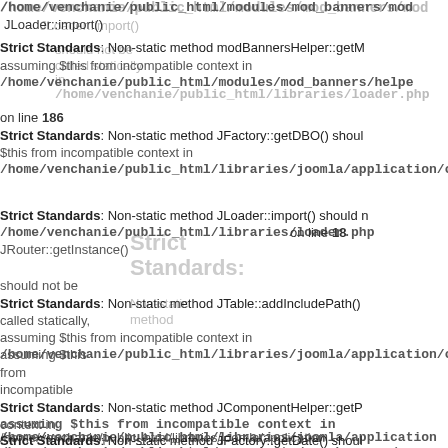/home/venchanie/public_html/modules/mod_banners/mod... JLoader::import()
should not be called statically in /home/venchanie/public_html/libraries/loader.php on line 186
Strict Standards: Non-static method modBannersHelper::getM... assuming $this from incompatible context in /home/venchanie/public_html/modules/mod_banners/helpe...
Strict Standards: Non-static method JFactory::getDBO() should... $this from incompatible context in /home/venchanie/public_html/libraries/joomla/application/c...
Strict Standards: Non-static method (overlay text)
Strict Standards: Non-static method JLoader::import() should n... /home/venchanie/public_html/libraries/loader.php on line 18...
JRouter::getInstance() should not be called statically, assuming $this from incompatible context in /home/venchanie/public_html/libraries/joomla/application/c...
Strict Standards: Non-static method JTable::addIncludePath() assuming $this from incompatible context in /home/venchanie/public_html/libraries/joomla/application/c...
Strict Standards: Non-static method JComponentHelper::getP... assuming $this from incompatible context in /home/venchanie/public_html/libraries/joomla/application... /home/venchanie/public_html/components/com_banners/m... on line 674
Strict Standards: Non-static method JFactory::getDate() shoul...